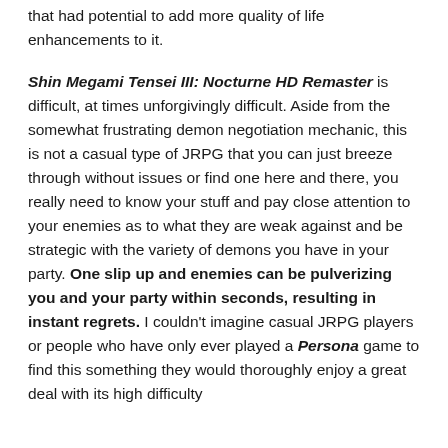that had potential to add more quality of life enhancements to it.
Shin Megami Tensei III: Nocturne HD Remaster is difficult, at times unforgivingly difficult. Aside from the somewhat frustrating demon negotiation mechanic, this is not a casual type of JRPG that you can just breeze through without issues or find one here and there, you really need to know your stuff and pay close attention to your enemies as to what they are weak against and be strategic with the variety of demons you have in your party. One slip up and enemies can be pulverizing you and your party within seconds, resulting in instant regrets. I couldn't imagine casual JRPG players or people who have only ever played a Persona game to find this something they would thoroughly enjoy a great deal with its high difficulty